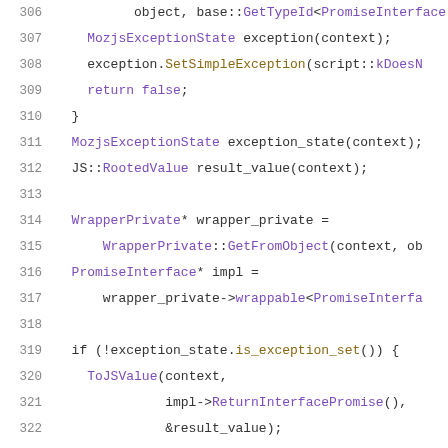[Figure (screenshot): Source code screenshot showing C++ code lines 306-326 with syntax highlighting. Line numbers in gray on the left, code with purple and brown colored keywords and identifiers on white background.]